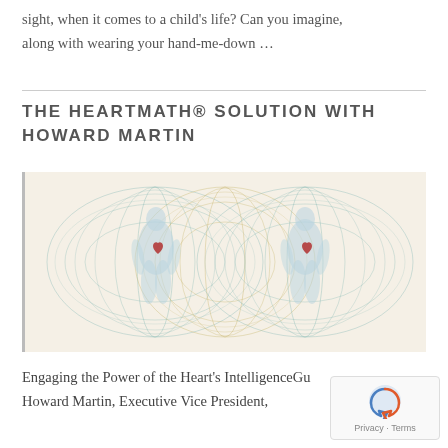sight, when it comes to a child’s life? Can you imagine, along with wearing your hand-me-down …
THE HEARTMATH® SOLUTION WITH HOWARD MARTIN
[Figure (illustration): Illustration showing two translucent human figures surrounded by overlapping toroidal electromagnetic field shapes in blue-green and gold wire-frame style, with red hearts visible in each figure's chest area. The background is a warm cream/beige color.]
Engaging the Power of the Heart’s IntelligenceGu
Howard Martin, Executive Vice President,